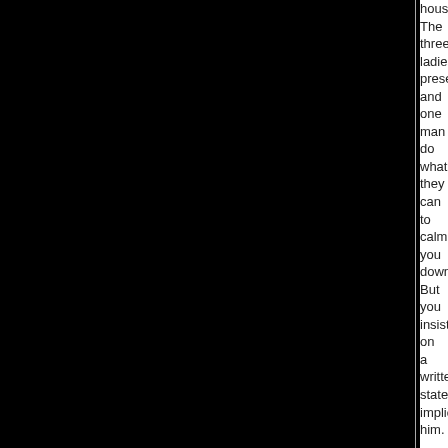house. The three ladies present and one man do what they can to calm you down. But you insist on a written statement, implicating him.